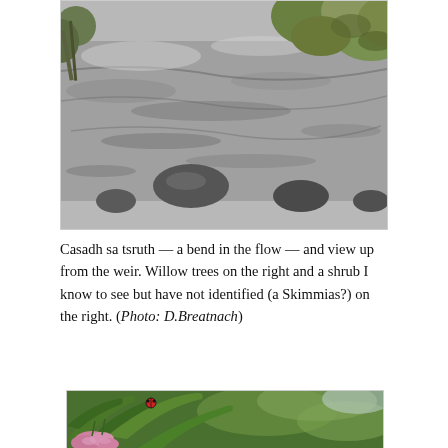[Figure (photo): Black and white photo of a river bend (weir) with rocks visible in flowing water and green leafy shrubs/trees on the right side.]
Casadh sa tsruth — a bend in the flow — and view up from the weir. Willow trees on the right and a shrub I know to see but have not identified (a Skimmias?) on the right. (Photo: D.Breatnach)
[Figure (photo): Colour photo of green plant leaves with pink flowers visible at the bottom left, taken in a garden or natural setting.]